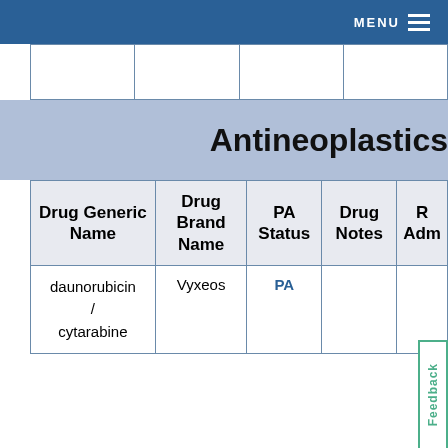MENU
Antineoplastics
| Drug Generic Name | Drug Brand Name | PA Status | Drug Notes | R Adm |
| --- | --- | --- | --- | --- |
| daunorubicin / cytarabine | Vyxeos | PA |  |  |